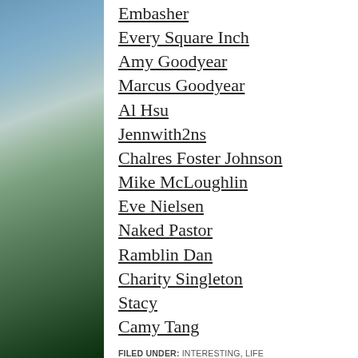[Figure (photo): Left sidebar photo of a countryside landscape with green fields, stone walls, and a blue cloudy sky]
Embasher
Every Square Inch
Amy Goodyear
Marcus Goodyear
Al Hsu
Jennwith2ns
Chalres Foster Johnson
Mike McLoughlin
Eve Nielsen
Naked Pastor
Ramblin Dan
Charity Singleton
Stacy
Camy Tang
FILED UNDER: INTERESTING, LIFE
TAGGED WITH: BLOG-TOUR, GOOD-WORD-EDITING, HIGH-CALLING, INTERESTING, LIFE,